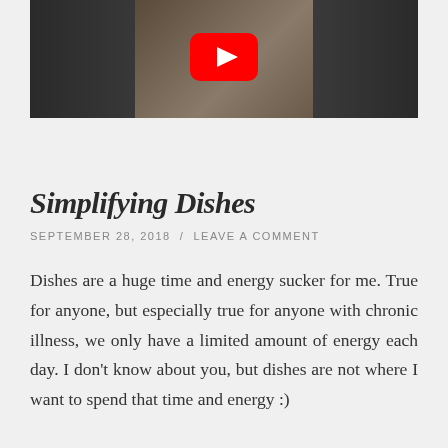[Figure (screenshot): YouTube video thumbnail showing a person in a black v-neck shirt against a dark background, with the red YouTube play button overlay in the center top area.]
Simplifying Dishes
SEPTEMBER 28, 2018 / LEAVE A COMMENT
Dishes are a huge time and energy sucker for me. True for anyone, but especially true for anyone with chronic illness, we only have a limited amount of energy each day. I don't know about you, but dishes are not where I want to spend that time and energy :)